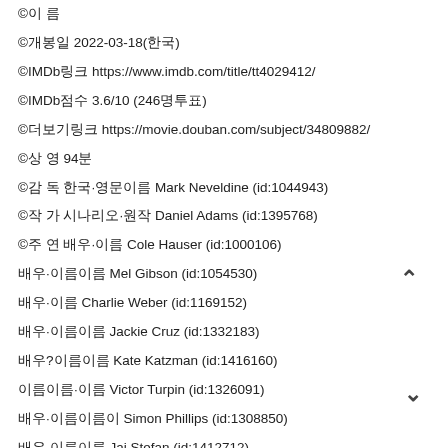©이 름
©개봉일 2022-03-18(한국)
©IMDb링크 https://www.imdb.com/title/tt4029412/
©IMDb점수 3.6/10 (246명투표)
©더보기링크 https://movie.douban.com/subject/34809882/
©상 영 94분
©감 독 한국-영문이름 Mark Neveldine (id:1044943)
©작 가 시나리오-원작 Daniel Adams (id:1395768)
©주 연 배우-이름 Cole Hauser (id:1000106)
배우-이름 Mel Gibson (id:1054530)
배우-이름 Charlie Weber (id:1169152)
배우-이름 Jackie Cruz (id:1332183)
배우?이름 Kate Katzman (id:1416160)
배우이름-이름 Victor Turpin (id:1326091)
배우-이름이름 Simon Phillips (id:1308850)
배우-이름이름 Jai Stefan (id:1412712)
이·이름이·이름 Jean Pierre Prats (id:1404309)
Néstor Rodulfo Néstor Rodulfo (id:1175639)
이름이름·이름 Mauricio Hénao (id:1470023)